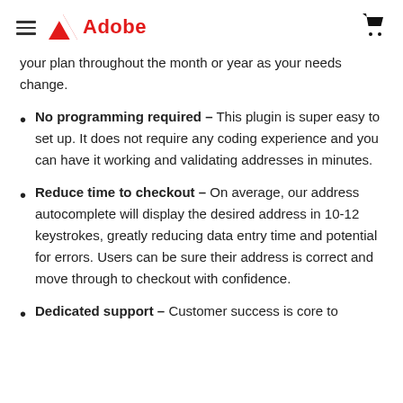Adobe
your plan throughout the month or year as your needs change.
No programming required - This plugin is super easy to set up. It does not require any coding experience and you can have it working and validating addresses in minutes.
Reduce time to checkout - On average, our address autocomplete will display the desired address in 10-12 keystrokes, greatly reducing data entry time and potential for errors. Users can be sure their address is correct and move through to checkout with confidence.
Dedicated support - Customer success is core to